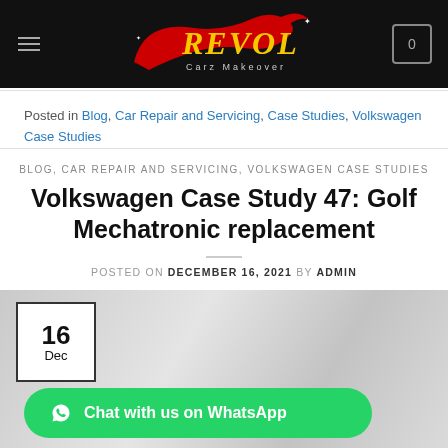Revol Carz Makeover
Posted in Blog, Car Repair and Servicing, Case Studies, Volkswagen Case Studies
BLOG, CAR REPAIR AND SERVICING, VOLKSWAGEN CASE STUDIES
Volkswagen Case Study 47: Golf Mechatronic replacement
POSTED ON DECEMBER 16, 2021 BY ADMIN
[Figure (photo): Car with Volkswagen branding in a workshop setting, with a date badge showing 16 Dec]
Chat with us on WhatsApp